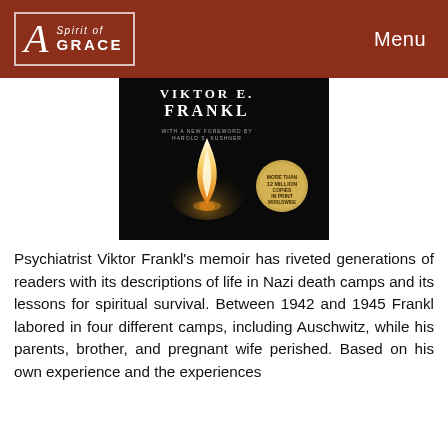Spirit of GRACE | Menu
[Figure (photo): Book cover of Viktor E. Frankl's memoir with a candle flame on black background, text reads 'VIKTOR E. FRANKL', 'WITH A NEW FOREWORD BY HAROLD S. KUSHNER', and a gold badge 'MORE THAN 12 MILLION COPIES IN PRINT WORLDWIDE']
Psychiatrist Viktor Frankl's memoir has riveted generations of readers with its descriptions of life in Nazi death camps and its lessons for spiritual survival. Between 1942 and 1945 Frankl labored in four different camps, including Auschwitz, while his parents, brother, and pregnant wife perished. Based on his own experience and the experiences